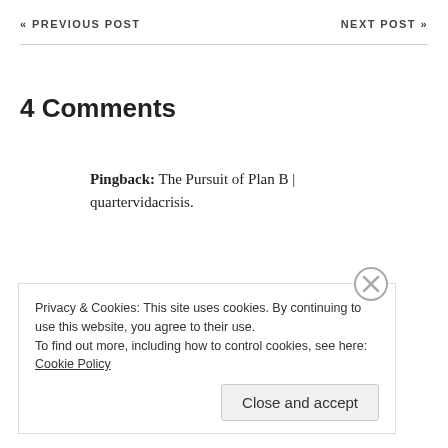« PREVIOUS POST     NEXT POST »
4 Comments
Pingback: The Pursuit of Plan B | quartervidacrisis.
Privacy & Cookies: This site uses cookies. By continuing to use this website, you agree to their use.
To find out more, including how to control cookies, see here: Cookie Policy
Close and accept